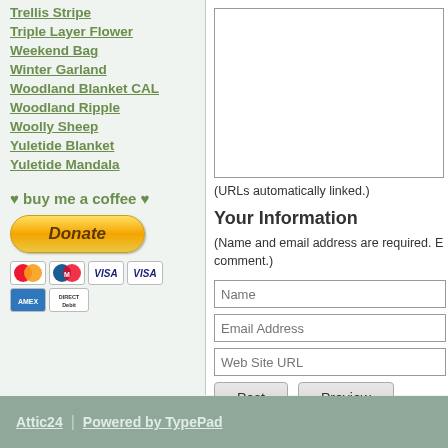Trellis Stripe
Triple Layer Flower
Weekend Bag
Winter Garland
Woodland Blanket CAL
Woodland Ripple
Woolly Sheep
Yuletide Blanket
Yuletide Mandala
♥ buy me a coffee ♥
[Figure (other): PayPal Donate button with payment card icons (Mastercard, Maestro, VISA, VISA, Amex, Direct Debit)]
(URLs automatically linked.)
Your Information
(Name and email address are required. E... comment.)
Name
Email Address
Web Site URL
Post   Preview
Attic24 | Powered by TypePad